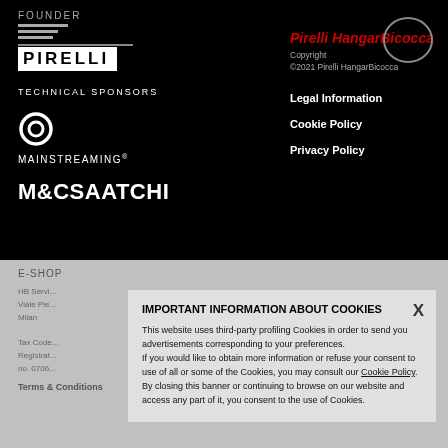FOUNDER
[Figure (logo): Pirelli logo in white box with horizontal stripe]
TECHNICAL SPONSORS
[Figure (logo): Mainstreaming circular logo with ring icon]
[Figure (logo): M&C Saatchi logo in white bold text]
Pirelli HangarBicocca
Copyright
©2021 Pirelli HangarBicocca
Legal Information
Cookie Policy
Privacy Policy
E-SHOP
HB Servi...
Viale Pie...
Milan
Tax Code...
Registrat...
no. 0706...
Terms & Conditions
IMPORTANT INFORMATION ABOUT COOKIES
This website uses third-party profiling Cookies in order to send you advertisements corresponding to your preferences.
If you would like to obtain more information or refuse your consent to use of all or some of the Cookies, you may consult our Cookie Policy.
By closing this banner or continuing to browse on our website and access any part of it, you consent to the use of Cookies.